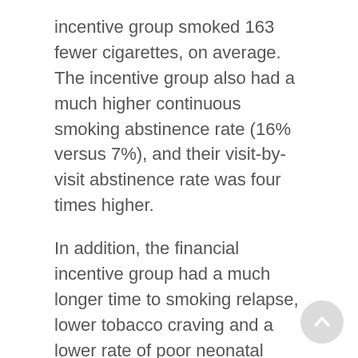incentive group smoked 163 fewer cigarettes, on average. The incentive group also had a much higher continuous smoking abstinence rate (16% versus 7%), and their visit-by-visit abstinence rate was four times higher.
In addition, the financial incentive group had a much longer time to smoking relapse, lower tobacco craving and a lower rate of poor neonatal outcomes (2% versus 9%), according to the report published Dec. 1 in The BMJ.
After the babies were born, the investigators found that those in the financial incentive group were about twice as likely have birth weights of 5.5 pounds or more than those in the control group.
The researchers said future studies "should assess the long-term effectiveness of financial incentives on